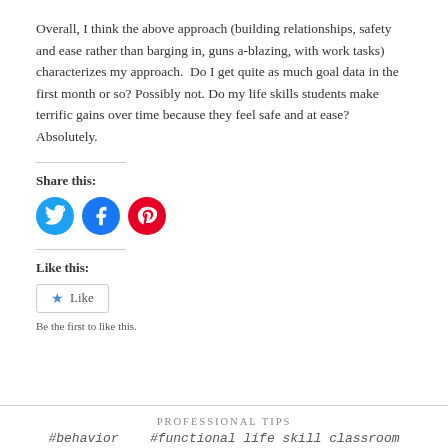Overall, I think the above approach (building relationships, safety and ease rather than barging in, guns a-blazing, with work tasks) characterizes my approach.  Do I get quite as much goal data in the first month or so? Possibly not. Do my life skills students make terrific gains over time because they feel safe and at ease? Absolutely.
Share this:
[Figure (infographic): Three social media share buttons: Twitter (blue circle with bird icon), Facebook (blue circle with F icon), Pinterest (red circle with P icon)]
Like this:
Like
Be the first to like this.
PROFESSIONAL TIPS
#behavior   #functional life skill classroom